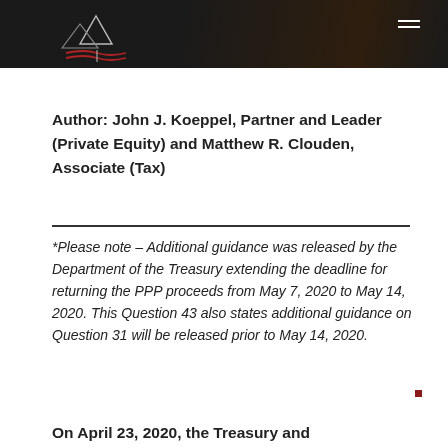[Logo and navigation header]
Author: John J. Koeppel, Partner and Leader (Private Equity) and Matthew R. Clouden, Associate (Tax)
*Please note – Additional guidance was released by the Department of the Treasury extending the deadline for returning the PPP proceeds from May 7, 2020 to May 14, 2020. This Question 43 also states additional guidance on Question 31 will be released prior to May 14, 2020.
On April 23, 2020, the Treasury and